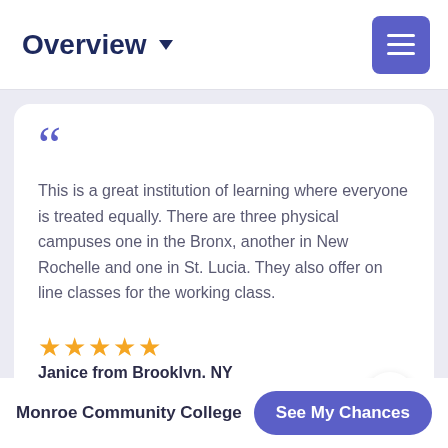Overview ▾
This is a great institution of learning where everyone is treated equally. There are three physical campuses one in the Bronx, another in New Rochelle and one in St. Lucia. They also offer on line classes for the working class.
★★★★★  Janice from Brooklyn, NY
Monroe Community College
See My Chances